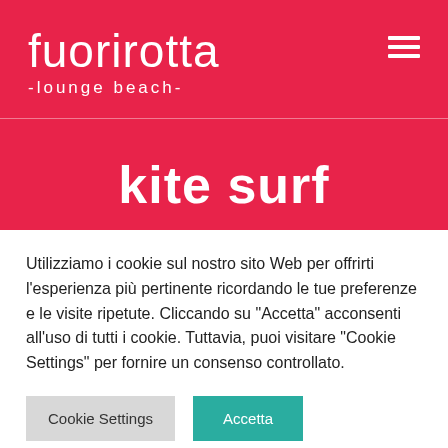fuorirotta -lounge beach-
kite surf
Utilizziamo i cookie sul nostro sito Web per offrirti l'esperienza più pertinente ricordando le tue preferenze e le visite ripetute. Cliccando su "Accetta" acconsenti all'uso di tutti i cookie. Tuttavia, puoi visitare "Cookie Settings" per fornire un consenso controllato.
Cookie Settings | Accetta